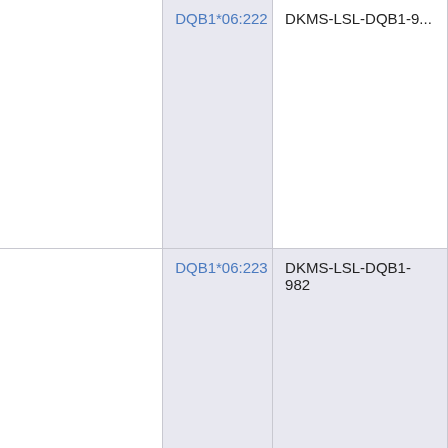| Allele | Reference |
| --- | --- |
| DQB1*06:222 (partial/cut off) | DKMS-LSL-DQB1-... (cut off) |
| DQB1*06:223 | DKMS-LSL-DQB1-982 |
| DQB1*06:224 | DKMS-LSL-DQB1-980,DKMS-LSL-DQB1-985 |
| DQB1*06:225 | DKMS-LSL-DQB1-987 |